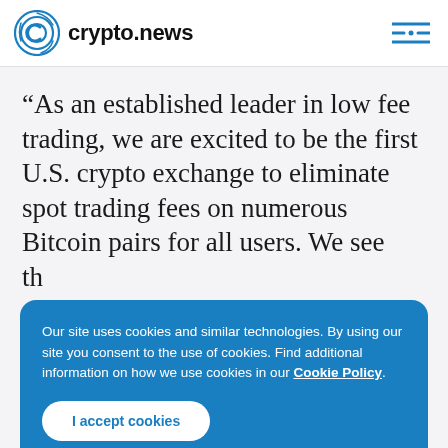crypto.news
“As an established leader in low fee trading, we are excited to be the first U.S. crypto exchange to eliminate spot trading fees on numerous Bitcoin pairs for all users. We see th... re... ap... ac... support our market and customers
Our site uses cookies and similar technologies. By using our site you consent to the use of cookies. Find additional information on how we use cookies in our Cookie Policy.
I accept cookies